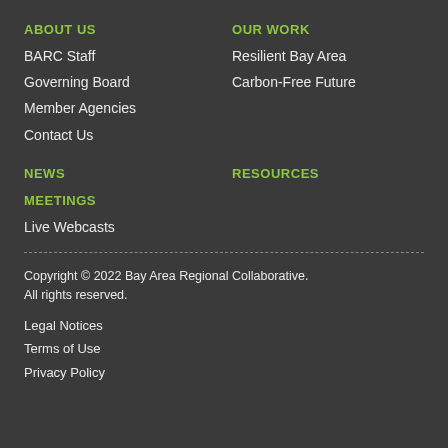ABOUT US
BARC Staff
Governing Board
Member Agencies
Contact Us
OUR WORK
Resilient Bay Area
Carbon-Free Future
NEWS
RESOURCES
MEETINGS
Live Webcasts
Copyright © 2022 Bay Area Regional Collaborative. All rights reserved.
Legal Notices
Terms of Use
Privacy Policy